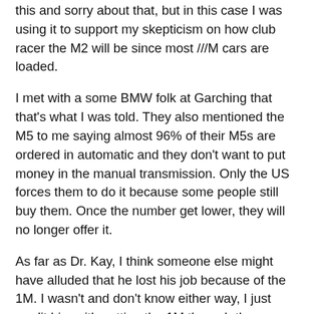this and sorry about that, but in this case I was using it to support my skepticism on how club racer the M2 will be since most ///M cars are loaded.
I met with a some BMW folk at Garching that that's what I was told. They also mentioned the M5 to me saying almost 96% of their M5s are ordered in automatic and they don't want to put money in the manual transmission. Only the US forces them to do it because some people still buy them. Once the number get lower, they will no longer offer it.
As far as Dr. Kay, I think someone else might have alluded that he lost his job because of the 1M. I wasn't and don't know either way, I just credit him with getting the 1M through the barriers and being the guiding vision. Since he is gone, I don't think there someone with that same vision guiding the M2?
On a positive note, I had lost hope after the E46 M3 went away but BMW surprised me with the 1M and I put my